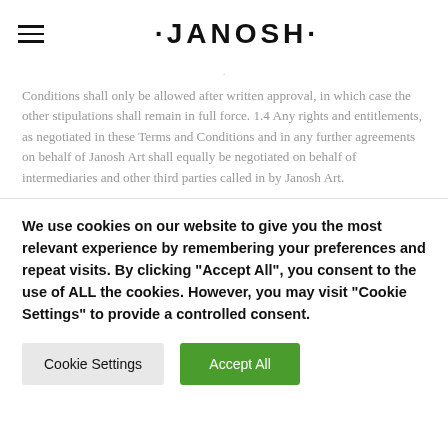·JANOSH·
Conditions shall only be allowed after written approval, in which case the other stipulations shall remain in full force. 1.4 Any rights and entitlements, as negotiated in these Terms and Conditions and in any further agreements on behalf of Janosh Art shall equally be negotiated on behalf of intermediaries and other third parties called in by Janosh Art.
We use cookies on our website to give you the most relevant experience by remembering your preferences and repeat visits. By clicking "Accept All", you consent to the use of ALL the cookies. However, you may visit "Cookie Settings" to provide a controlled consent.